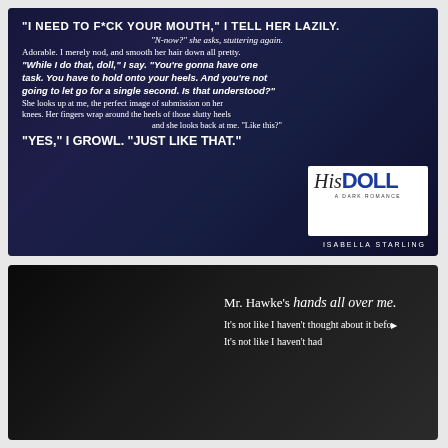[Figure (illustration): Dark romance book promotional image showing a woman kneeling in a dark blue atmospheric setting with text overlay containing a passage from 'His Doll' by Isabella Starling]
"I NEED TO F*CK YOUR MOUTH," I TELL HER LAZILY. "N-now?" she asks, stuttering again. Adorable. I merely nod, and smooth her hair down all pretty. "While I do that, doll," I say. "You're gonna have one task. You have to hold onto your heels. And you're not going to let go for a single second. Is that understood?" She looks up at me, the perfect image of submission on her knees. Her fingers wrap around the heels of those slutty heels and she looks back at me. "Like this?" "YES," I GROWL. "JUST LIKE THAT."
[Figure (illustration): Dark romance promotional image with black and white photo of a woman with flowing dark hair on the left side, and text on the right reading: Mr. Hawke's hands all over me. It's not like I haven't thought about it before. It's not like I haven't had]
Mr. Hawke's hands all over me. It's not like I haven't thought about it befo... It's not like I haven't had